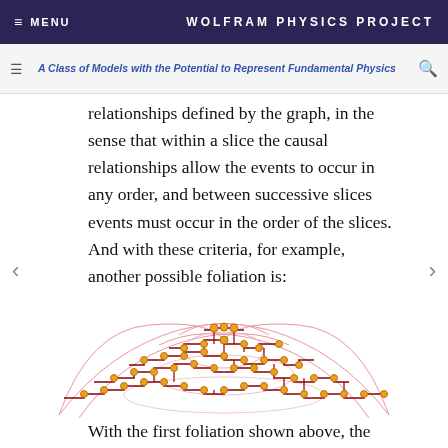MENU   WOLFRAM PHYSICS PROJECT
A Class of Models with the Potential to Represent Fundamental Physics
relationships defined by the graph, in the sense that within a slice the causal relationships allow the events to occur in any order, and between successive slices events must occur in the order of the slices. And with these criteria, for example, another possible foliation is:
[Figure (network-graph): A complex causal graph showing nodes (orange dots) connected by dark red edges forming a layered foliation structure, with lighter red curved lines indicating causal relationships across layers. The graph is arranged in a dome/hill shape.]
With the first foliation shown above, the